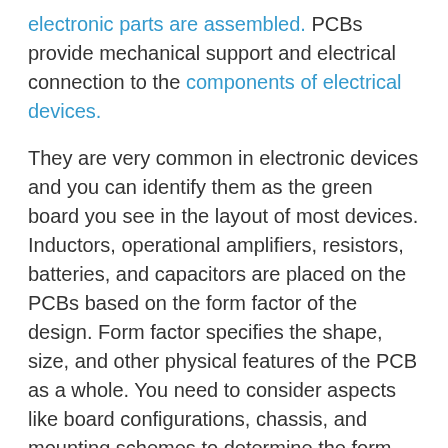electronic parts are assembled. PCBs provide mechanical support and electrical connection to the components of electrical devices.
They are very common in electronic devices and you can identify them as the green board you see in the layout of most devices. Inductors, operational amplifiers, resistors, batteries, and capacitors are placed on the PCBs based on the form factor of the design. Form factor specifies the shape, size, and other physical features of the PCB as a whole. You need to consider aspects like board configurations, chassis, and mounting schemes to determine the form factor of any PCB design.
PCBs have electrical and mechanical features